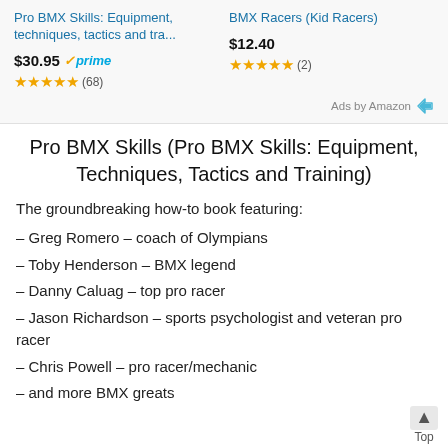Pro BMX Skills: Equipment, techniques, tactics and tra...
BMX Racers (Kid Racers)
$30.95 prime
$12.40
★★★★★ (68)
★★★★★ (2)
Ads by Amazon
Pro BMX Skills (Pro BMX Skills: Equipment, Techniques, Tactics and Training)
The groundbreaking how-to book featuring:
– Greg Romero – coach of Olympians
– Toby Henderson – BMX legend
– Danny Caluag – top pro racer
– Jason Richardson – sports psychologist and veteran pro racer
– Chris Powell – pro racer/mechanic
– and more BMX greats